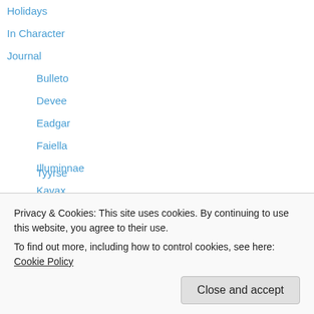Holidays
In Character
Journal
Bulleto
Devee
Eadgar
Faiella
Illuminnae
Kavax
Iogrus
Mooglegem
Mooglepete (Kil'jaeden)
Mooglepete (Silvermoon)
Mostymush
Tyyrse
Privacy & Cookies: This site uses cookies. By continuing to use this website, you agree to their use. To find out more, including how to control cookies, see here: Cookie Policy